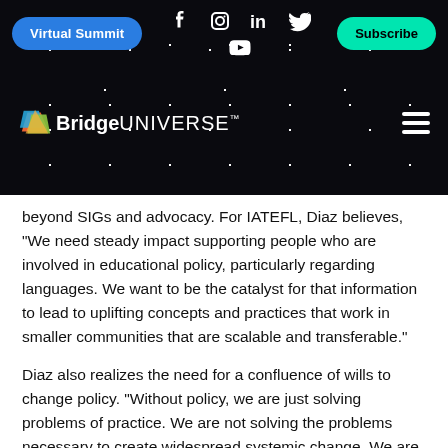[Figure (screenshot): BridgeUniverse website navigation bar with dark starry background, showing Virtual Summit button, social media icons (Facebook, Instagram, LinkedIn, Twitter, YouTube), Subscribe button, Bridge Universe logo, and hamburger menu]
beyond SIGs and advocacy. For IATEFL, Diaz believes, "We need steady impact supporting people who are involved in educational policy, particularly regarding languages. We want to be the catalyst for that information to lead to uplifting concepts and practices that work in smaller communities that are scalable and transferable."
Diaz also realizes the need for a confluence of wills to change policy. "Without policy, we are just solving problems of practice. We are not solving the problems necessary to create widespread systemic change. We are not changing the DNA of the profession," he explains.